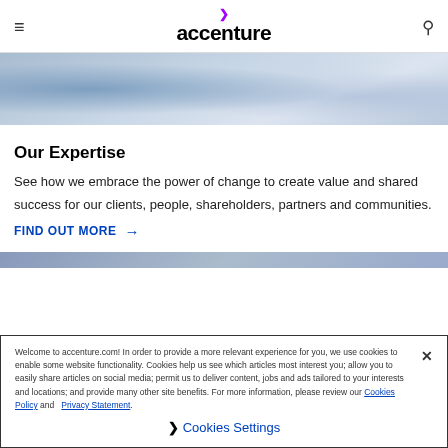accenture
[Figure (photo): Partial view of people in a professional/casual setting, cropped hero image at top of page]
Our Expertise
See how we embrace the power of change to create value and shared success for our clients, people, shareholders, partners and communities.
FIND OUT MORE →
[Figure (photo): Bottom strip of another image, partially visible]
Welcome to accenture.com! In order to provide a more relevant experience for you, we use cookies to enable some website functionality. Cookies help us see which articles most interest you; allow you to easily share articles on social media; permit us to deliver content, jobs and ads tailored to your interests and locations; and provide many other site benefits. For more information, please review our Cookies Policy and Privacy Statement.
❯ Cookies Settings